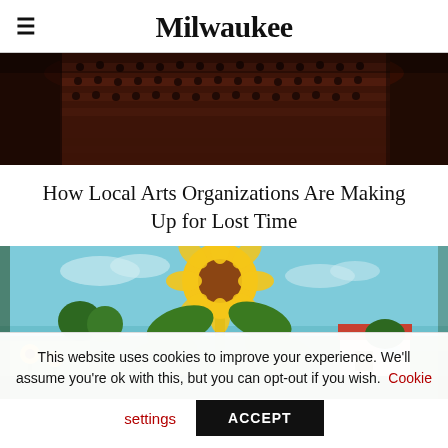Milwaukee
[Figure (photo): Audience in a theater or concert hall, viewed from above, with red-lit interior]
How Local Arts Organizations Are Making Up for Lost Time
[Figure (photo): Painting of a large sunflower in a garden landscape with a house in the background]
This website uses cookies to improve your experience. We'll assume you're ok with this, but you can opt-out if you wish. Cookie settings ACCEPT